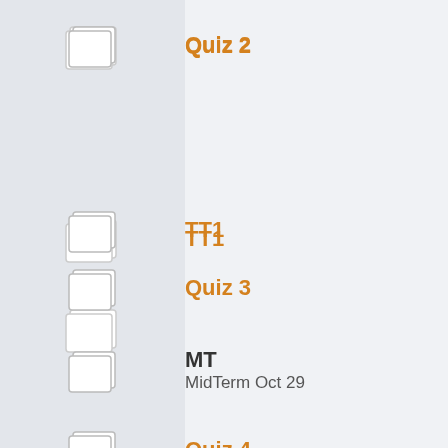Quiz 2
TT1
Quiz 3
MT
MidTerm Oct 29
Quiz 4